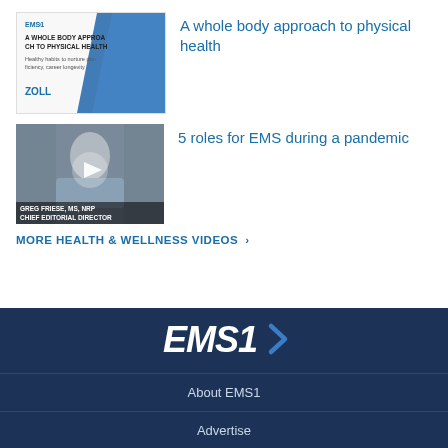[Figure (screenshot): Thumbnail of a document titled 'A Whole Body Approach to Physical Health' with ZOLL branding and blue graphic]
A whole body approach to physical health
[Figure (screenshot): Video thumbnail showing Greg Friese, MS, NRP, Chief Editorial Director with play button overlay]
5 roles for EMS during a pandemic
MORE HEALTH & WELLNESS VIDEOS >
[Figure (logo): EMS1 logo in white italic text with chevron on dark navy background]
About EMS1
Advertise